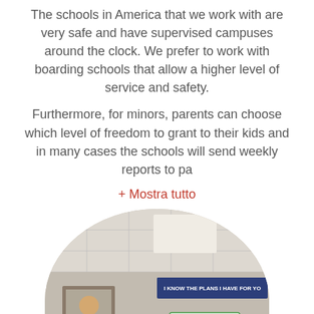The schools in America that we work with are very safe and have supervised campuses around the clock. We prefer to work with boarding schools that allow a higher level of service and safety.

Furthermore, for minors, parents can choose which level of freedom to grant to their kids and in many cases the schools will send weekly reports to pa
+ Mostra tutto
[Figure (photo): Circular-cropped photo of a classroom interior showing ceiling tiles, a banner reading 'I KNOW THE PLANS I HAVE FOR YOU', a '#CLASSRULES' sign, and a framed portrait on the wall.]